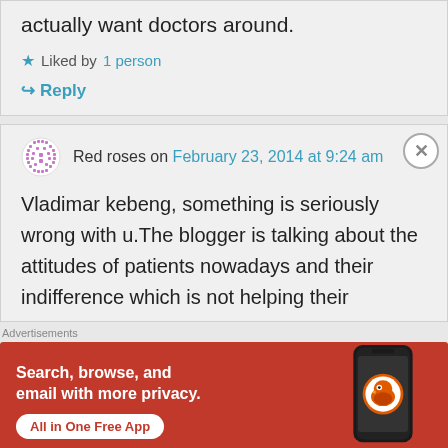actually want doctors around.
Liked by 1 person
Reply
Red roses on February 23, 2014 at 9:24 am
Vladimar kebeng, something is seriously wrong with u.The blogger is talking about the attitudes of patients nowadays and their indifference which is not helping their
Advertisements
[Figure (screenshot): DuckDuckGo advertisement banner showing 'Search, browse, and email with more privacy. All in One Free App' with a phone graphic and DuckDuckGo logo on an orange-red background.]